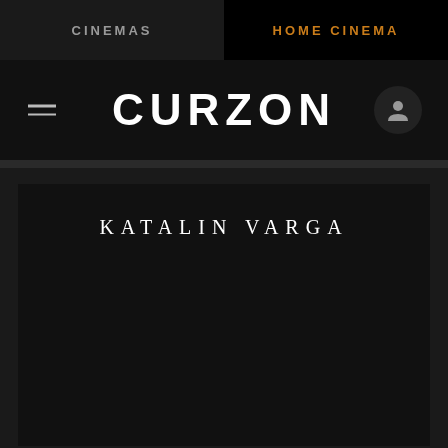CINEMAS
HOME CINEMA
CURZON
KATALIN VARGA